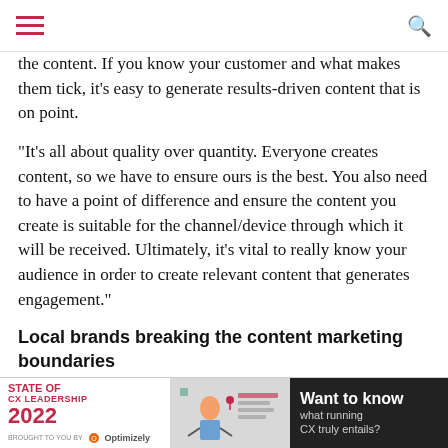[hamburger menu] [search icon]
the content. If you know your customer and what makes them tick, it’s easy to generate results-driven content that is on point.
“It’s all about quality over quantity. Everyone creates content, so we have to ensure ours is the best. You also need to have a point of difference and ensure the content you create is suitable for the channel/device through which it will be received. Ultimately, it’s vital to really know your audience in order to create relevant content that generates engagement.”
Local brands breaking the content marketing boundaries
In Australia, SurfStitch recently rolled out The Lens, creating what it claims is a ‘one-stop shop’ for the latest exciting lifestyle content. The publication includes professional athlete interviews through to travel diaries and featured music playlists.
“SurfStitch really understood the power of building up an audience that loves the lifestyle it reflects,” Bonnici comments. “More b[...] and who the[...]
[Figure (infographic): Advertisement banner: STATE OF CX LEADERSHIP 2022 brought to you by Optimizely logo on left, illustrated graphic in middle, 'Want to know what running CX truly entails?' text on dark background on right]